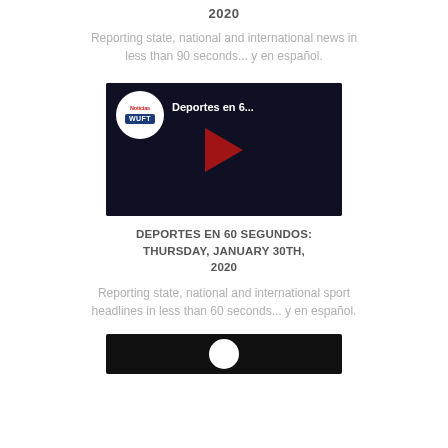2020
Reporting state, national and international news in less than 90 seconds... y en español.
[Figure (screenshot): Video thumbnail for Deportes en 6... with Noticias WUFT logo and YouTube-style play button over dark background]
DEPORTES EN 60 SEGUNDOS: THURSDAY, JANUARY 30TH, 2020
Reporting state, national and international sport headlines in less than 60 seconds... y en español.
[Figure (screenshot): Partial video thumbnail showing bottom portion, dark background with white circle logo element visible]